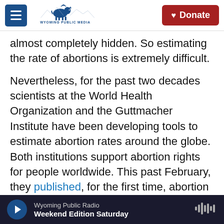Wyoming Public Media | Donate
almost completely hidden. So estimating the rate of abortions is extremely difficult.
Nevertheless, for the past two decades scientists at the World Health Organization and the Guttmacher Institute have been developing tools to estimate abortion rates around the globe. Both institutions support abortion rights for people worldwide. This past February, they published, for the first time, abortion rates for nearly every country. And they've also updated their analysis looking at how abortion rates vary across regions of the world – and whether the legality of the
Wyoming Public Radio | Weekend Edition Saturday